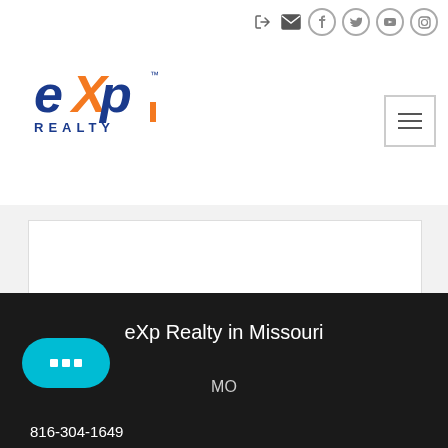[Figure (logo): eXp Realty logo with blue 'exp' text and orange 'X', and 'REALTY' below]
[Figure (other): Social media icons row: login arrow, mail, Facebook, Twitter, YouTube, Instagram]
[Figure (other): Hamburger menu button icon with three horizontal lines]
[Figure (other): White content area box on gray background (blank/empty)]
eXp Realty in Missouri
MO
[Figure (other): Teal chat button with three square dots (chat bubble icon)]
816-304-1649